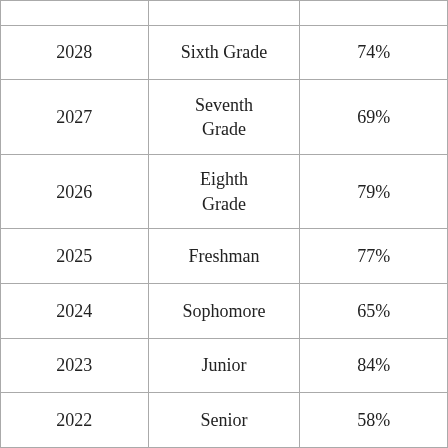|  |  |  |
| 2028 | Sixth Grade | 74% |
| 2027 | Seventh Grade | 69% |
| 2026 | Eighth Grade | 79% |
| 2025 | Freshman | 77% |
| 2024 | Sophomore | 65% |
| 2023 | Junior | 84% |
| 2022 | Senior | 58% |